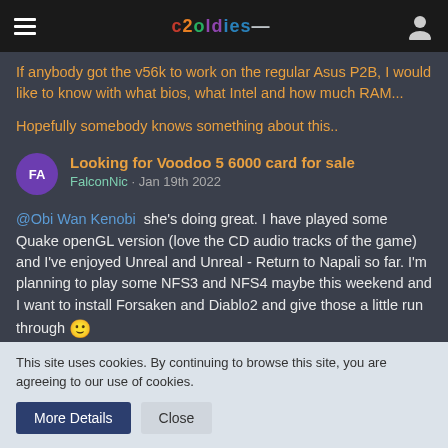c2oldies — navigation bar
If anybody got the v56k to work on the regular Asus P2B, I would like to know with what bios, what Intel and how much RAM...
Hopefully somebody knows something about this..
Looking for Voodoo 5 6000 card for sale
FalconNic · Jan 19th 2022
@Obi Wan Kenobi  she's doing great. I have played some Quake openGL version (love the CD audio tracks of the game) and I've enjoyed Unreal and Unreal - Return to Napali so far. I'm planning to play some NFS3 and NFS4 maybe this weekend and I want to install Forsaken and Diablo2 and give those a little run through 🙂
This site uses cookies. By continuing to browse this site, you are agreeing to our use of cookies.
More Details  Close